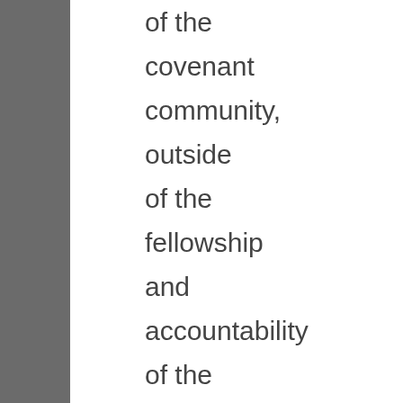of the covenant community, outside of the fellowship and accountability of the saints, it is hopeful that the person excommunicated will, like the prodigal son, find